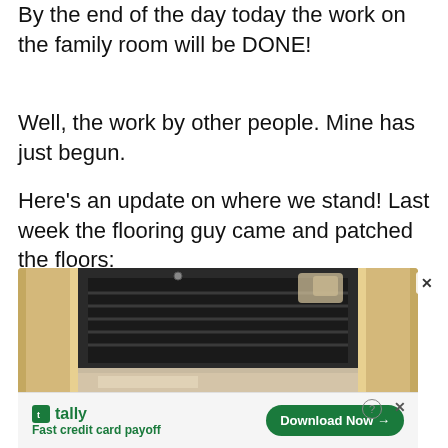By the end of the day today the work on the family room will be DONE!
Well, the work by other people. Mine has just begun.
Here's an update on where we stand! Last week the flooring guy came and patched the floors:
[Figure (photo): Photo of a fireplace surrounded by light wood framing, showing the fireplace insert with dark metal grate and surrounding light-colored flooring/trim area.]
tally
Fast credit card payoff
Download Now →